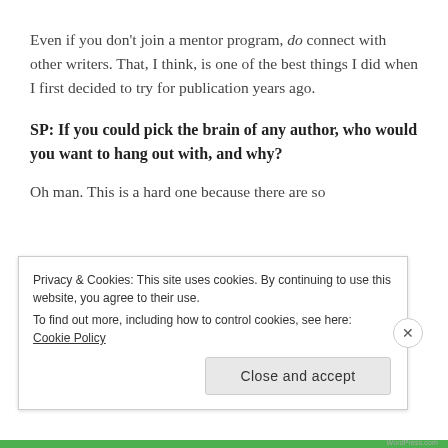Even if you don't join a mentor program, do connect with other writers. That, I think, is one of the best things I did when I first decided to try for publication years ago.
SP: If you could pick the brain of any author, who would you want to hang out with, and why?
Oh man. This is a hard one because there are so
Privacy & Cookies: This site uses cookies. By continuing to use this website, you agree to their use.
To find out more, including how to control cookies, see here: Cookie Policy
Close and accept